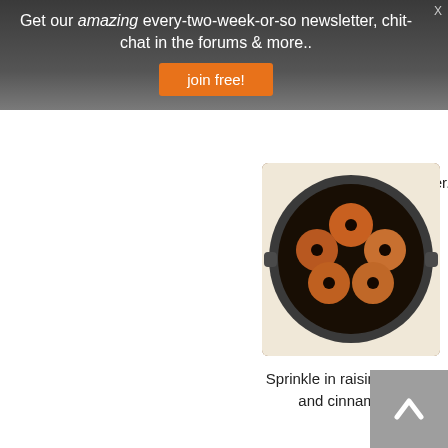Get our amazing every-two-week-or-so newsletter, chit-chat in the forums & more..
join free!
cooker.
[Figure (photo): Overhead view of apples in an Instant Pot pressure cooker with raisins, sugar and cinnamon]
Sprinkle in raisins, sugar and cinnamon.
[Figure (photo): Overhead view of cooked apples in an Instant Pot after natural release]
Open with Natural Release!
[Figure (photo): Overhead view of finished baked apples in an Instant Pot ready to serve]
Serve with a spoon or scoop.